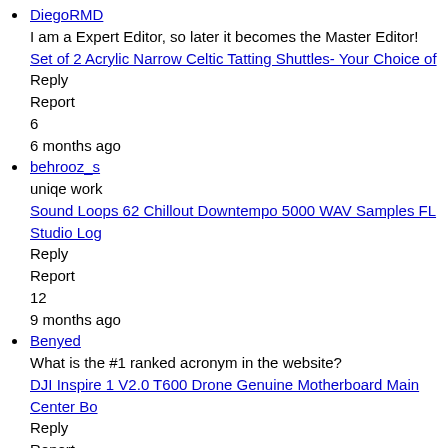DiegoRMD
I am a Expert Editor, so later it becomes the Master Editor!
Set of 2 Acrylic Narrow Celtic Tatting Shuttles- Your Choice of
Reply
Report
6
6 months ago
behrooz_s
uniqe work
Sound Loops 62 Chillout Downtempo 5000 WAV Samples FL Studio Log
Reply
Report
12
9 months ago
Benyed
What is the #1 ranked acronym in the website?
DJI Inspire 1 V2.0 T600 Drone Genuine Motherboard Main Center Bo
Reply
Report
11
11 months ago
Greying_Geezer